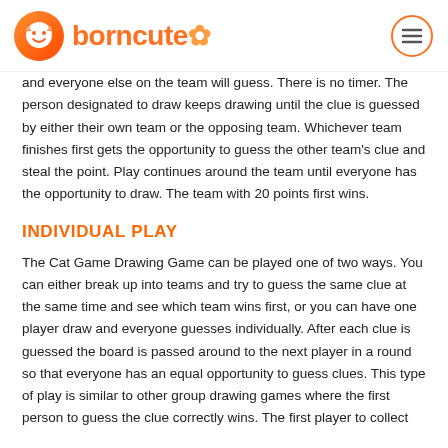borncute
and everyone else on the team will guess. There is no timer. The person designated to draw keeps drawing until the clue is guessed by either their own team or the opposing team. Whichever team finishes first gets the opportunity to guess the other team's clue and steal the point. Play continues around the team until everyone has the opportunity to draw. The team with 20 points first wins.
INDIVIDUAL PLAY
The Cat Game Drawing Game can be played one of two ways. You can either break up into teams and try to guess the same clue at the same time and see which team wins first, or you can have one player draw and everyone guesses individually. After each clue is guessed the board is passed around to the next player in a round so that everyone has an equal opportunity to guess clues. This type of play is similar to other group drawing games where the first person to guess the clue correctly wins. The first player to collect